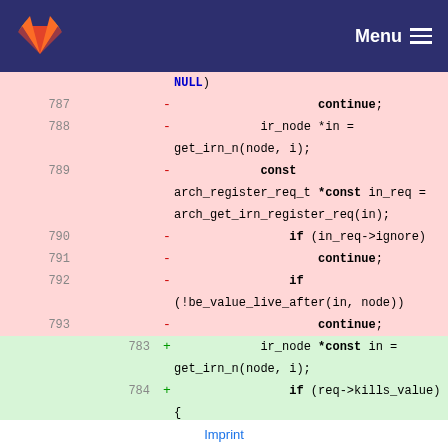GitLab Menu
Code diff view showing removed lines 787-793 and added lines 783-787
Imprint